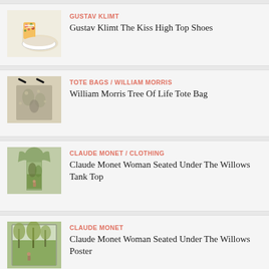[Figure (photo): Gustav Klimt The Kiss patterned high top sneakers, white with floral/gold pattern]
GUSTAV KLIMT
Gustav Klimt The Kiss High Top Shoes
[Figure (photo): William Morris Tree of Life tote bag, dark floral pattern with black strap]
TOTE BAGS / WILLIAM MORRIS
William Morris Tree Of Life Tote Bag
[Figure (photo): Claude Monet Woman Seated Under The Willows artwork on tank top, woman modeling]
CLAUDE MONET / CLOTHING
Claude Monet Woman Seated Under The Willows Tank Top
[Figure (photo): Claude Monet Woman Seated Under The Willows painting poster, green willow scene]
CLAUDE MONET
Claude Monet Woman Seated Under The Willows Poster
[Figure (photo): William Morris patterned pillow, dark floral design]
PILLOWS / WILLIAM MORRIS